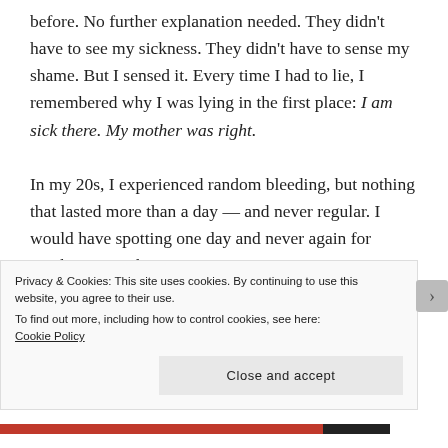before. No further explanation needed. They didn't have to see my sickness. They didn't have to sense my shame. But I sensed it. Every time I had to lie, I remembered why I was lying in the first place: I am sick there. My mother was right.

In my 20s, I experienced random bleeding, but nothing that lasted more than a day — and never regular. I would have spotting one day and never again for another 6 months, sometimes even a year or two in between. Other women would talk about
Privacy & Cookies: This site uses cookies. By continuing to use this website, you agree to their use.
To find out more, including how to control cookies, see here: Cookie Policy
Close and accept